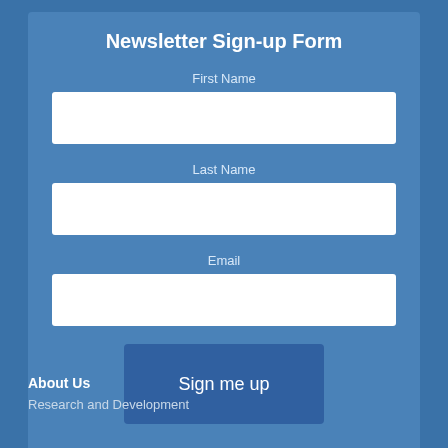Newsletter Sign-up Form
First Name
Last Name
Email
Sign me up
About Us
Research and Development